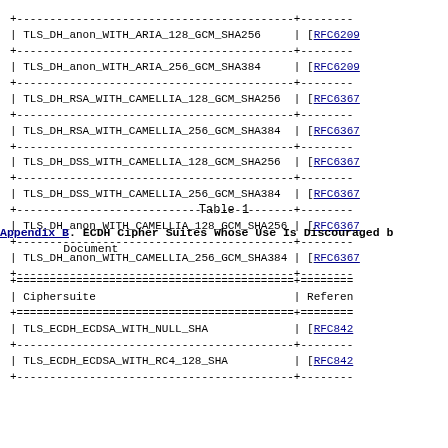| Ciphersuite | Reference |
| --- | --- |
| TLS_DH_anon_WITH_ARIA_128_GCM_SHA256 | [RFC6209 |
| TLS_DH_anon_WITH_ARIA_256_GCM_SHA384 | [RFC6209 |
| TLS_DH_RSA_WITH_CAMELLIA_128_GCM_SHA256 | [RFC6367 |
| TLS_DH_RSA_WITH_CAMELLIA_256_GCM_SHA384 | [RFC6367 |
| TLS_DH_DSS_WITH_CAMELLIA_128_GCM_SHA256 | [RFC6367 |
| TLS_DH_DSS_WITH_CAMELLIA_256_GCM_SHA384 | [RFC6367 |
| TLS_DH_anon_WITH_CAMELLIA_128_GCM_SHA256 | [RFC6367 |
| TLS_DH_anon_WITH_CAMELLIA_256_GCM_SHA384 | [RFC6367 |
Table 1
Appendix B.  ECDH Cipher Suites Whose Use Is Discouraged by This Document
| Ciphersuite | Reference |
| --- | --- |
| TLS_ECDH_ECDSA_WITH_NULL_SHA | [RFC842 |
| TLS_ECDH_ECDSA_WITH_RC4_128_SHA | [RFC842 |